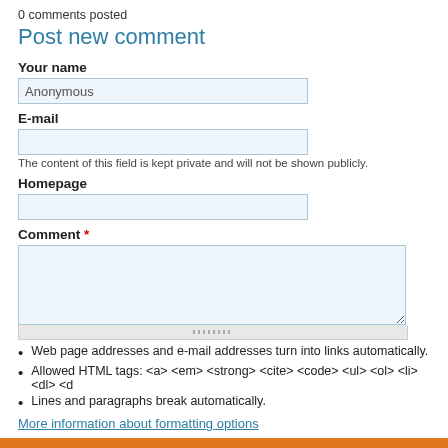0 comments posted
Post new comment
Your name
Anonymous
E-mail
The content of this field is kept private and will not be shown publicly.
Homepage
Comment *
Web page addresses and e-mail addresses turn into links automatically.
Allowed HTML tags: <a> <em> <strong> <cite> <code> <ul> <ol> <li> <dl> <d
Lines and paragraphs break automatically.
More information about formatting options
By submitting this form, you accept the Mollom privacy policy.
Save   Preview